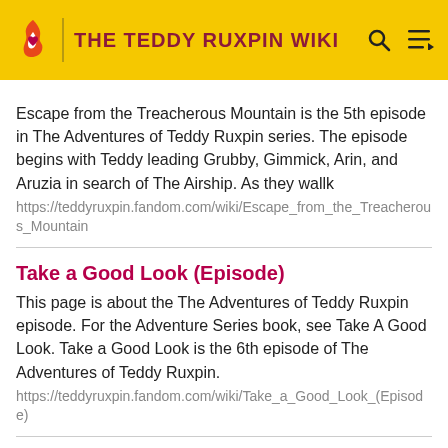THE TEDDY RUXPIN WIKI
Escape from the Treacherous Mountain is the 5th episode in The Adventures of Teddy Ruxpin series. The episode begins with Teddy leading Grubby, Gimmick, Arin, and Aruzia in search of The Airship. As they wallk
https://teddyruxpin.fandom.com/wiki/Escape_from_the_Treacherous_Mountain
Take a Good Look (Episode)
This page is about the The Adventures of Teddy Ruxpin episode. For the Adventure Series book, see Take A Good Look. Take a Good Look is the 6th episode of The Adventures of Teddy Ruxpin.
https://teddyruxpin.fandom.com/wiki/Take_a_Good_Look_(Episode)
Newton Gimmick
Newton Gimmick (usually referred to as Gimmick,) is the tritagonist and good friend to Teddy Ruxpin and Grubby. Gimmick is a